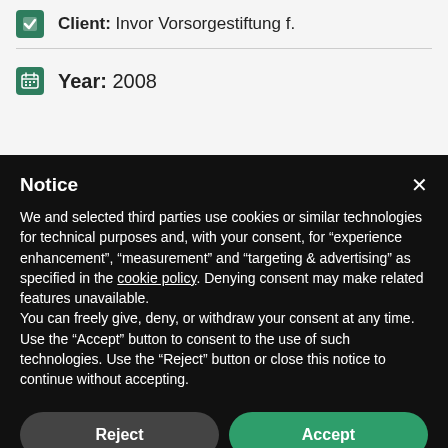Client: Invor Vorsorgestiftung f.
Year: 2008
Notice
We and selected third parties use cookies or similar technologies for technical purposes and, with your consent, for "experience enhancement", "measurement" and "targeting & advertising" as specified in the cookie policy. Denying consent may make related features unavailable.
You can freely give, deny, or withdraw your consent at any time.
Use the "Accept" button to consent to the use of such technologies. Use the "Reject" button or close this notice to continue without accepting.
Reject
Accept
Learn more and customize